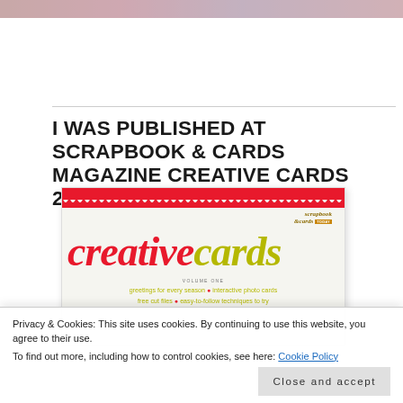[Figure (photo): Top image strip showing partial magazine preview images]
I WAS PUBLISHED AT SCRAPBOOK & CARDS MAGAZINE CREATIVE CARDS 2015
[Figure (photo): Cover of Scrapbook & Cards Today magazine - Creative Cards Volume One, showing the magazine cover with red top strip, creative cards title in red and olive/yellow, with taglines: greetings for every season, interactive photo cards, free cut files, easy-to-follow techniques to try]
Privacy & Cookies: This site uses cookies. By continuing to use this website, you agree to their use.
To find out more, including how to control cookies, see here: Cookie Policy
Close and accept